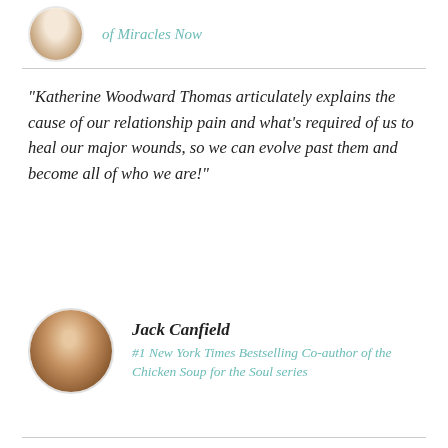of Miracles Now
“Katherine Woodward Thomas articulately explains the cause of our relationship pain and what’s required of us to heal our major wounds, so we can evolve past them and become all of who we are!”
Jack Canfield
#1 New York Times Bestselling Co-author of the Chicken Soup for the Soul series